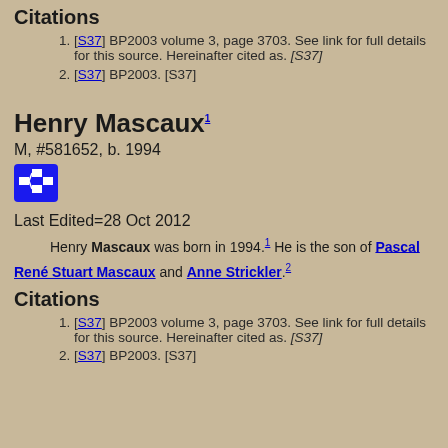Citations
[S37] BP2003 volume 3, page 3703. See link for full details for this source. Hereinafter cited as. [S37]
[S37] BP2003. [S37]
Henry Mascaux
M, #581652, b. 1994
Last Edited=28 Oct 2012
Henry Mascaux was born in 1994. He is the son of Pascal René Stuart Mascaux and Anne Strickler.
Citations
[S37] BP2003 volume 3, page 3703. See link for full details for this source. Hereinafter cited as. [S37]
[S37] BP2003. [S37]